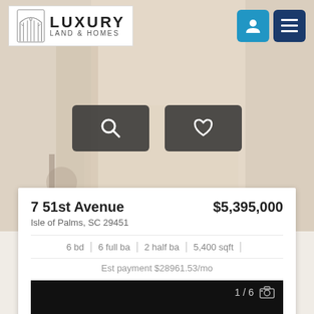[Figure (screenshot): Background interior room photo with warm beige tones showing a hallway/room]
Luxury Land & Homes logo with gate icon, user icon, and menu icon
[Figure (screenshot): Two dark buttons: search (magnifying glass) and favorite (heart)]
7 51st Avenue
$5,395,000
Isle of Palms, SC 29451
6 bd | 6 full ba | 2 half ba | 5,400 sqft
Est payment $28961.53/mo
[Figure (photo): Property photo gallery showing 1/6 with camera icon, dark/black image area with thumbnail strip at bottom]